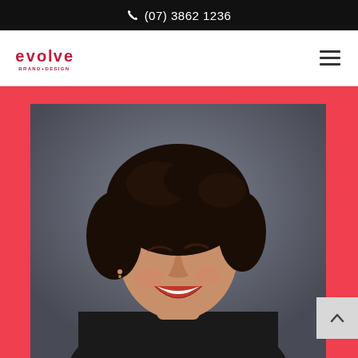(07) 3862 1236
[Figure (logo): Evolve Brand+Design logo in red/crimson with stylized lettering]
[Figure (photo): Black and white portrait photo of a woman with dark curly hair, laughing with eyes nearly closed, against a gray background]